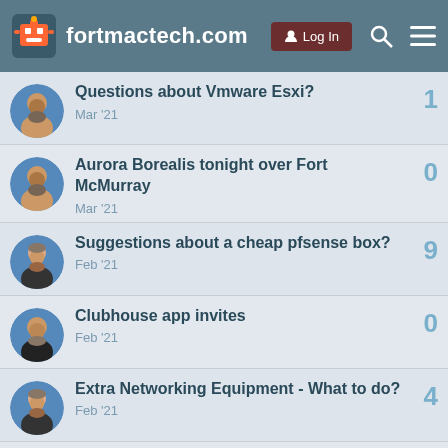fortmactech.com | Log In
Questions about Vmware Esxi? | 1 | Mar '21
Aurora Borealis tonight over Fort McMurray | 0 | Mar '21
Suggestions about a cheap pfsense box? | 9 | Feb '21
Clubhouse app invites | 0 | Feb '21
Extra Networking Equipment - What to do? | 4 | Feb '21
Loops versus Recursion | 0